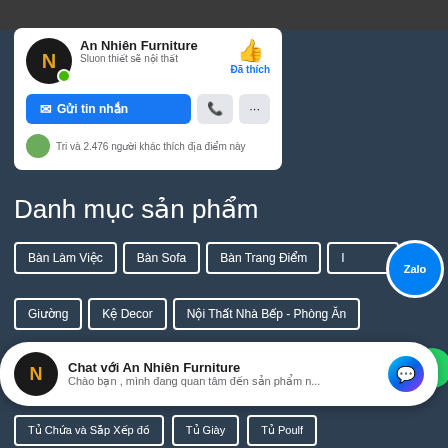[Figure (screenshot): Facebook page card for An Nhiên Furniture showing profile photo, page name, like button, send message button, phone button, more options button, and social proof text 'Tri và 2.476 người khác thích địa điểm này']
Danh mục sản phẩm
Bàn Làm Việc
Bàn Sofa
Bàn Trang Điểm
Giường
Kệ Decor
Nội Thất Nhà Bếp - Phòng Ăn
Nội Thất Phòng Khách
Nội Thất Phòng Làm Việc
[Figure (screenshot): Chat popup widget showing 'Chat với An Nhiên Furniture' with subtext 'Chào bạn , mình đang quan tâm đến sản phẩm n...' and Messenger icon]
Tủ Chứa và Sắp Xếp đồ
Tủ Giày
Tủ Poulf